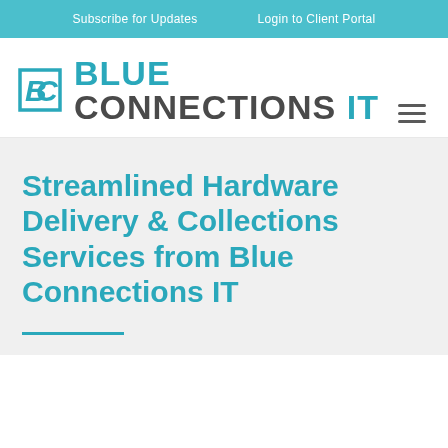Subscribe for Updates   Login to Client Portal
[Figure (logo): Blue Connections IT logo with BC icon mark and wordmark]
Streamlined Hardware Delivery & Collections Services from Blue Connections IT